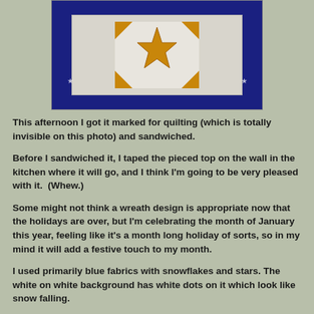[Figure (photo): Photo of a quilt with a star pattern on a blue fabric background with white inner border, partially cropped at top]
This afternoon I got it marked for quilting (which is totally invisible on this photo) and sandwiched.
Before I sandwiched it, I taped the pieced top on the wall in the kitchen where it will go, and I think I'm going to be very pleased with it.  (Whew.)
Some might not think a wreath design is appropriate now that the holidays are over, but I'm celebrating the month of January this year, feeling like it's a month long holiday of sorts, so in my mind it will add a festive touch to my month.
I used primarily blue fabrics with snowflakes and stars. The white on white background has white dots on it which look like snow falling.